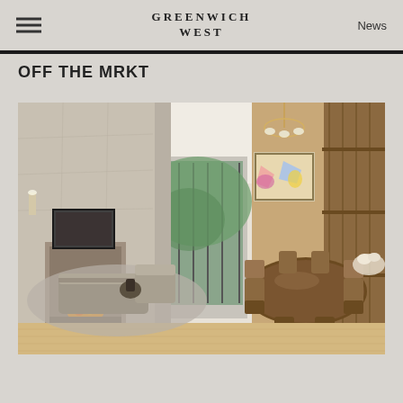GREENWICH WEST | News
OFF THE MRKT
[Figure (photo): Interior rendering of a luxury residential lobby/lounge area showing a modern fireplace on the left with grey curved sofas, large floor-to-ceiling windows in the center with greenery visible outside, and a dining area on the right with a wooden table, wicker chairs, abstract artwork on the wall, and a decorative chandelier.]